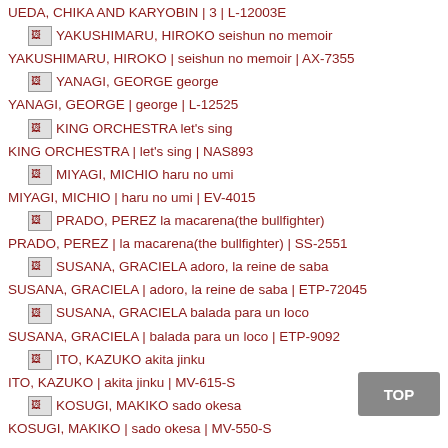UEDA, CHIKA AND KARYOBIN | 3 | L-12003E
YAKUSHIMARU, HIROKO seishun no memoir
YAKUSHIMARU, HIROKO | seishun no memoir | AX-7355
YANAGI, GEORGE george
YANAGI, GEORGE | george | L-12525
KING ORCHESTRA let's sing
KING ORCHESTRA | let's sing | NAS893
MIYAGI, MICHIO haru no umi
MIYAGI, MICHIO | haru no umi | EV-4015
PRADO, PEREZ la macarena(the bullfighter)
PRADO, PEREZ | la macarena(the bullfighter) | SS-2551
SUSANA, GRACIELA adoro, la reine de saba
SUSANA, GRACIELA | adoro, la reine de saba | ETP-72045
SUSANA, GRACIELA balada para un loco
SUSANA, GRACIELA | balada para un loco | ETP-9092
ITO, KAZUKO akita jinku
ITO, KAZUKO | akita jinku | MV-615-S
KOSUGI, MAKIKO sado okesa
KOSUGI, MAKIKO | sado okesa | MV-550-S